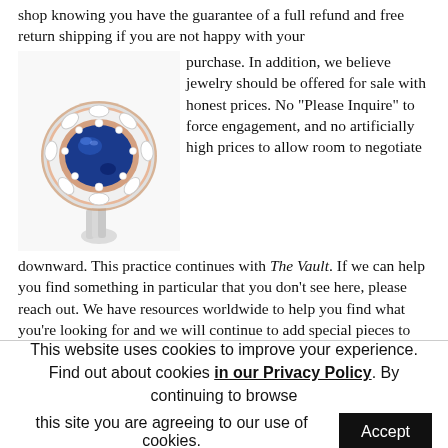shop knowing you have the guarantee of a full refund and free return shipping if you are not happy with your purchase. In addition, we believe jewelry should be offered for sale with honest prices. No "Please Inquire" to force engagement, and no artificially high prices to allow room to negotiate downward. This practice continues with The Vault. If we can help you find something in particular that you don't see here, please reach out. We have resources worldwide to help you find what you're looking for and we will continue to add special pieces to The Vault as we find them, so please check back from time to time.
[Figure (photo): A sapphire and diamond ring with a large oval blue sapphire center stone surrounded by a halo of diamonds set in white and rose gold.]
Enjoy!
This website uses cookies to improve your experience. Find out about cookies in our Privacy Policy. By continuing to browse this site you are agreeing to our use of cookies.